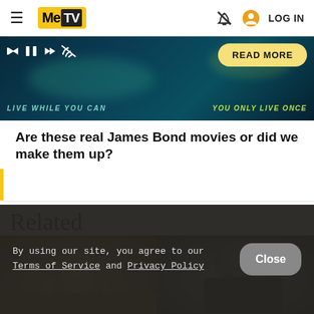MeTV — LOG IN
[Figure (screenshot): Video player showing James Bond movie quiz with controls, muted icon, and READ MORE button. Text overlays: LIVE WHILE YOU CAN and YOU ONLY LIVE ONCE]
Are these real James Bond movies or did we make them up?
Related
By using our site, you agree to our Terms of Service and Privacy Policy
[Figure (photo): Two partially visible photos at the bottom: a young woman on the left, a figure in dark clothing on the right]